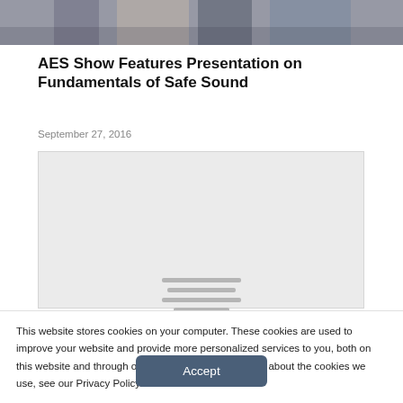[Figure (photo): Top portion of a photo showing a person near audio equipment, partially cropped]
AES Show Features Presentation on Fundamentals of Safe Sound
September 27, 2016
[Figure (screenshot): Embedded media placeholder box with gray background and loading lines]
This website stores cookies on your computer. These cookies are used to improve your website and provide more personalized services to you, both on this website and through other media. To find out more about the cookies we use, see our Privacy Policy.